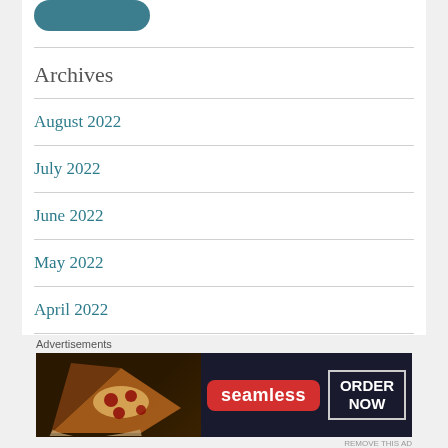[Figure (other): Teal/blue rounded button at top of panel]
Archives
August 2022
July 2022
June 2022
May 2022
April 2022
Advertisements
[Figure (other): Seamless food delivery advertisement banner showing pizza with Seamless logo and ORDER NOW button]